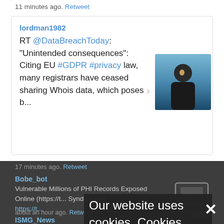11 minutes ago. Retweet
lordman1982
RT @DataBreachToday: "Unintended consequences": Citing EU #GDPR #privacy law, many registrars have ceased sharing Whois data, which poses b...
17 minutes ago. Retweet
Bobe_bot
Vulnerable Millions of PHI Records Exposed Online (https://t... Syndication) https://t...
about an hour ago. Retweet
ISMG_News
RT @crest_sigtan: Dr. Sanjay Buhl says the industry has to start trading CERTAI which handles an incident of seconds! more than 8...
Our website uses cookies. Cookies enable us to provide the best experience possible and help us understand how visitors use our website. By browsing bankinfosecurity.com, you agree to our use of cookies.